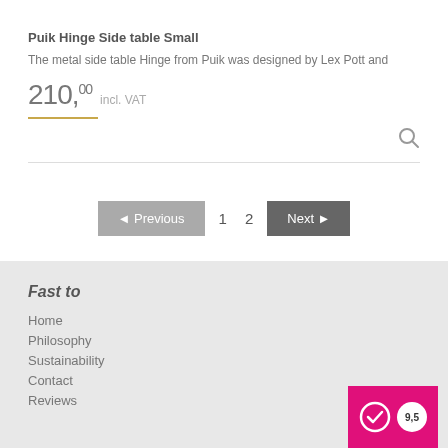Puik Hinge Side table Small
The metal side table Hinge from Puik was designed by Lex Pott and
210,00 incl. VAT
◄Previous  1  2  Next►
Fast to
Home
Philosophy
Sustainability
Contact
Reviews
[Figure (logo): Pink badge with checkmark icon and rating score 9,5]